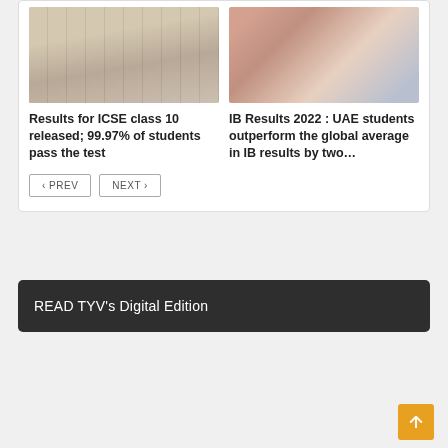[Figure (photo): Photo of a hand pointing at a list/document on a board]
[Figure (photo): Photo of two students (young man and woman) smiling, holding a paper document]
Results for ICSE class 10 released; 99.97% of students pass the test
IB Results 2022 : UAE students outperform the global average in IB results by two...
< PREV
NEXT >
READ TYV's Digital Edition